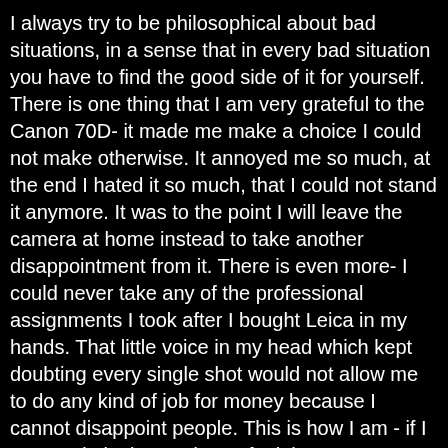I always try to be philosophical about bad situations, in a sense that in every bad situation you have to find the good side of it for yourself. There is one thing that I am very grateful to the Canon 70D- it made me make a choice I could not make otherwise. It annoyed me so much, at the end I hated it so much, that I could not stand it anymore. It was to the point I will leave the camera at home instead to take another disappointment from it. There is even more- I could never take any of the professional assignments I took after I bought Leica in my hands. That little voice in my head which kept doubting every single shot would not allow me to do any kind of job for money because I cannot disappoint people. This is how I am - if I cannot do it I better do not fool the person on the other side that I can. I am a perfectionist and I do things that way to the extend of my understanding. With Canon it was not possible. So in short I never regret the decision of moving to Leica and how could I.